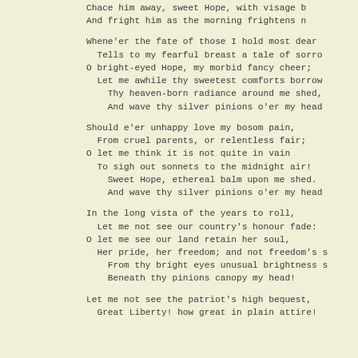Chace him away, sweet Hope, with visage b
And fright him as the morning frightens n

Whene'er the fate of those I hold most dear
  Tells to my fearful breast a tale of sorrow
O bright-eyed Hope, my morbid fancy cheer;
  Let me awhile thy sweetest comforts borrow
    Thy heaven-born radiance around me shed,
    And wave thy silver pinions o'er my head

Should e'er unhappy love my bosom pain,
  From cruel parents, or relentless fair;
O let me think it is not quite in vain
  To sigh out sonnets to the midnight air!
    Sweet Hope, ethereal balm upon me shed.
    And wave thy silver pinions o'er my head

In the long vista of the years to roll,
  Let me not see our country's honour fade:
O let me see our land retain her soul,
  Her pride, her freedom; and not freedom's s
    From thy bright eyes unusual brightness s
    Beneath thy pinions canopy my head!

Let me not see the patriot's high bequest,
  Great Liberty! how great in plain attire!